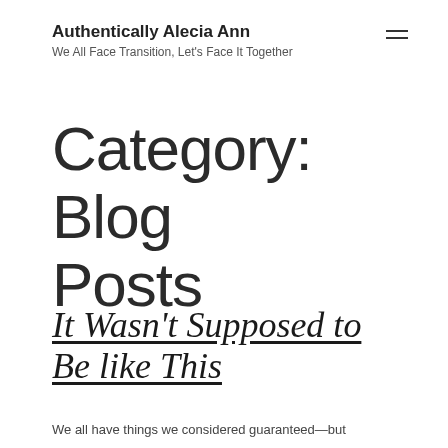Authentically Alecia Ann
We All Face Transition, Let's Face It Together
Category: Blog Posts
It Wasn't Supposed to Be like This
We all have things we considered guaranteed—but